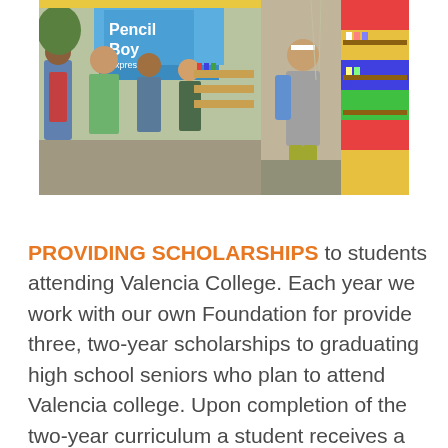[Figure (photo): Two side-by-side photos showing people gathered around a 'Pencil Boy Express' supply truck/booth at an outdoor event. Left photo shows several people browsing supplies near a blue truck with 'Pencil Boy Express' signage. Right photo shows a person in a grey jacket browsing supplies at the colorful booth.]
PROVIDING SCHOLARSHIPS to students attending Valencia College. Each year we work with our own Foundation for provide three, two-year scholarships to graduating high school seniors who plan to attend Valencia college. Upon completion of the two-year curriculum a student receives a Associate Degree in Arts (AA) or an Associate Degree in Science(AS) and providing a